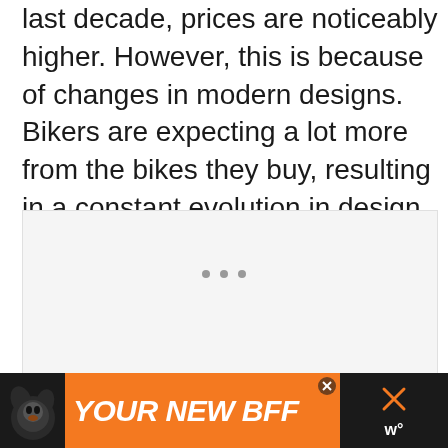last decade, prices are noticeably higher. However, this is because of changes in modern designs. Bikers are expecting a lot more from the bikes they buy, resulting in a constant evolution in design from manufacturers.
[Figure (other): Image placeholder area with light gray background]
[Figure (other): Advertisement banner: black background with orange section containing a dog image and text 'YOUR NEW BFF' in white bold italic letters, with close buttons]